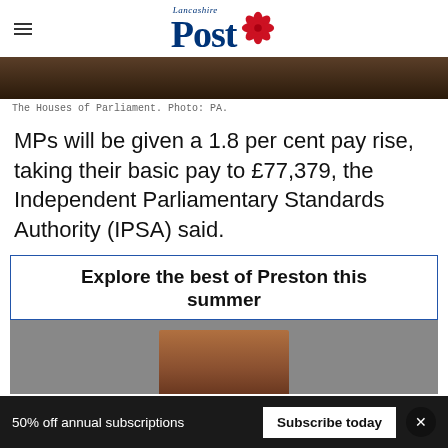Lancashire Post
[Figure (photo): Bottom edge of a photo of the Houses of Parliament, dark brown/wood tones visible]
The Houses of Parliament. Photo: PA.
MPs will be given a 1.8 per cent pay rise, taking their basic pay to £77,379, the Independent Parliamentary Standards Authority (IPSA) said.
Explore the best of Preston this summer
[Figure (photo): Partial image of Preston landmark or attraction, warm tones, partially obscured by gray overlay]
50% off annual subscriptions  Subscribe today